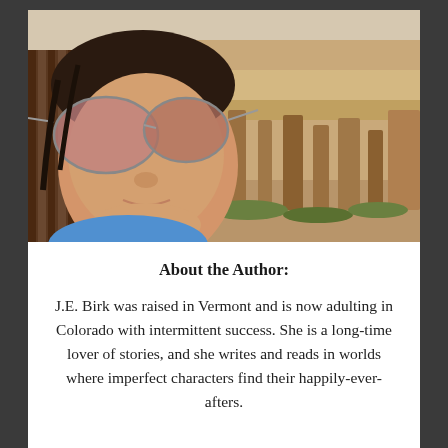[Figure (photo): Author photo: A woman with sunglasses taking a selfie outdoors with red rock canyon formations visible in the background.]
About the Author:
J.E. Birk was raised in Vermont and is now adulting in Colorado with intermittent success. She is a long-time lover of stories, and she writes and reads in worlds where imperfect characters find their happily-ever-afters.